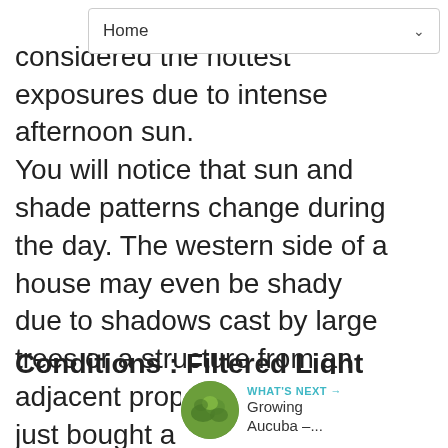Home
considered the hottest exposures due to intense afternoon sun. You will notice that sun and shade patterns change during the day. The western side of a house may even be shady due to shadows cast by large trees or a structure from an adjacent property. If you have just bought a new home or just beginning to garden in your older home, take time to map sun and shade throughout the day. You will get a more accurate feel for your site's true light conditions.
Conditions : Filtered Light
[Figure (other): What's Next thumbnail showing Growing Aucuba article preview with green leafy plant image]